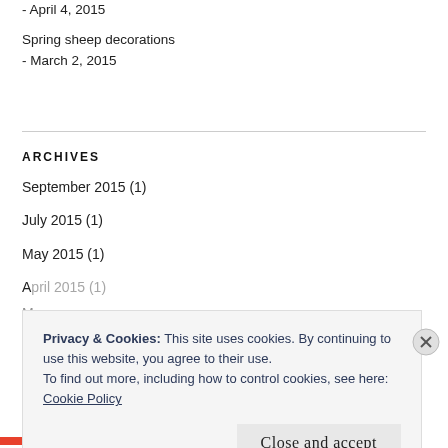- April 4, 2015
Spring sheep decorations
- March 2, 2015
ARCHIVES
September 2015 (1)
July 2015 (1)
May 2015 (1)
Privacy & Cookies: This site uses cookies. By continuing to use this website, you agree to their use.
To find out more, including how to control cookies, see here:
Cookie Policy
Close and accept